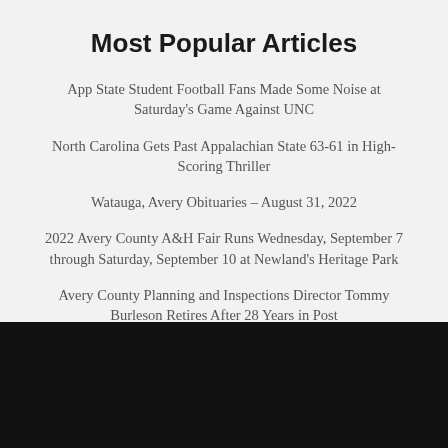Most Popular Articles
App State Student Football Fans Made Some Noise at Saturday's Game Against UNC
North Carolina Gets Past Appalachian State 63-61 in High-Scoring Thriller
Watauga, Avery Obituaries – August 31, 2022
2022 Avery County A&H Fair Runs Wednesday, September 7 through Saturday, September 10 at Newland's Heritage Park
Avery County Planning and Inspections Director Tommy Burleson Retires After 28 Years in Post